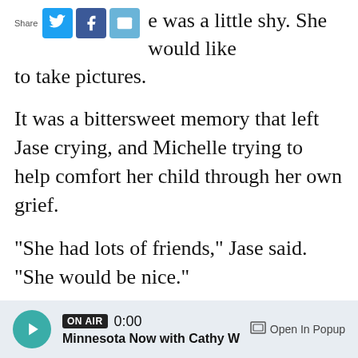e was a little shy. She would like to take pictures.
It was a bittersweet memory that left Jase crying, and Michelle trying to help comfort her child through her own grief.
“She had lots of friends,” Jase said. “She would be nice.”
Last Sunday, Jase’s kindergarten classmate — a little girl, 6 years old like him — died from complications of COVID-19.
“It made my heart broke,” he said.
ON AIR 0:00 Minnesota Now with Cathy W  Open In Popup